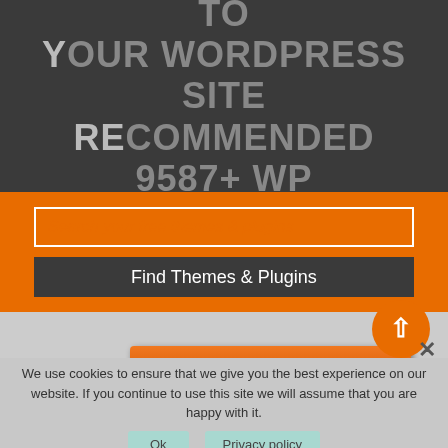DESIGN AND BUILD TO YOUR WORDPRESS SITE RECOMMENDED 9587+ WP THEMES & PLUGINS.
[Figure (screenshot): Search box with placeholder 'Search your free themes & plugins' and a dark button labeled 'Find Themes & Plugins' on an orange background]
[Figure (screenshot): Orange button labeled 'WordPress Directory Theme Free' with a back-to-top orange circle button with up arrow and a close X button]
We use cookies to ensure that we give you the best experience on our website. If you continue to use this site we will assume that you are happy with it.
Ok
Privacy policy